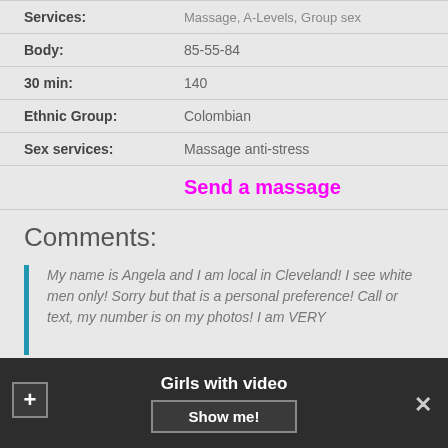| Label | Value |
| --- | --- |
| Services: | Massage, A-Levels, Group sex |
| Body: | 85-55-84 |
| 30 min: | 140 |
| Ethnic Group: | Colombian |
| Sex services: | Massage anti-stress |
Send a massage
Comments:
My name is Angela and I am local in Cleveland! I see white men only! Sorry but that is a personal preference! Call or text, my number is on my photos! I am VERY
Girls with video  Show me!